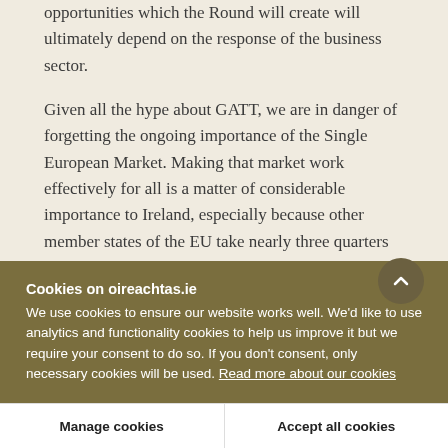opportunities which the Round will create will ultimately depend on the response of the business sector.
Given all the hype about GATT, we are in danger of forgetting the ongoing importance of the Single European Market. Making that market work effectively for all is a matter of considerable importance to Ireland, especially because other member states of the EU take nearly three quarters of our total exports. With this in mind, the European
Cookies on oireachtas.ie
We use cookies to ensure our website works well. We'd like to use analytics and functionality cookies to help us improve it but we require your consent to do so. If you don't consent, only necessary cookies will be used. Read more about our cookies
Manage cookies
Accept all cookies